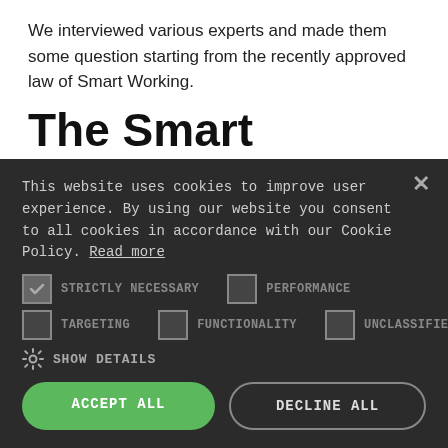We interviewed various experts and made them some question starting from the recently approved law of Smart Working.
The Smart Working law
With the law “Lavoro agile” (n.81/2017), Smart Working has been institutionalized in Italy, and each employee now has the opportunity to perform subordinate work flexibly, away from the company premises. The law also applies to all public
This website uses cookies to improve user experience. By using our website you consent to all cookies in accordance with our Cookie Policy. Read more
STRICTLY NECESSARY  PERFORMANCE  TARGETING  FUNCTIONALITY  UNCLASSIFIED
SHOW DETAILS
ACCEPT ALL
DECLINE ALL